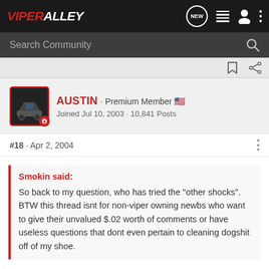ViperAlley
Search Community
AUSTIN · Premium Member 🇺🇸
Joined Jul 10, 2003 · 10,841 Posts
#18 · Apr 2, 2004
Smokin said:
So back to my question, who has tried the "other shocks". BTW this thread isnt for non-viper owning newbs who want to give their unvalued $.02 worth of comments or have useless questions that dont even pertain to cleaning dogshit off of my shoe.